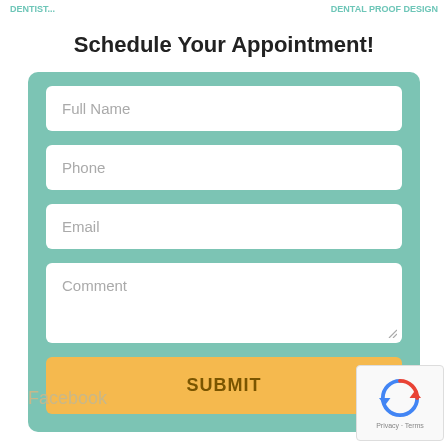Schedule Your Appointment!
[Figure (screenshot): Web form with fields for Full Name, Phone, Email, Comment, and a SUBMIT button on a teal background]
Facebook
[Figure (logo): reCAPTCHA widget with rotating arrows icon and Privacy - Terms text]